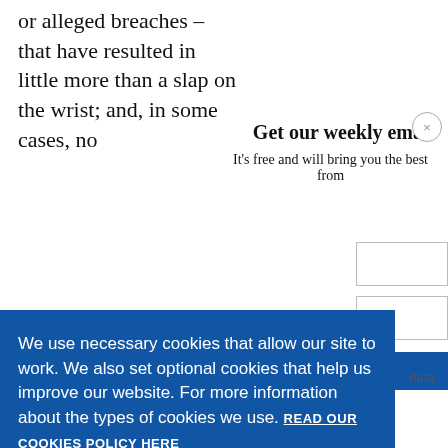or alleged breaches – that have resulted in little more than a slap on the wrist; and, in some cases, no
Get our weekly email
It's free and will bring you the best from
We use necessary cookies that allow our site to work. We also set optional cookies that help us improve our website. For more information about the types of cookies we use. READ OUR COOKIES POLICY HERE
COOKIE SETTINGS
ALLOW ALL COOKIES
data.
Johnson.